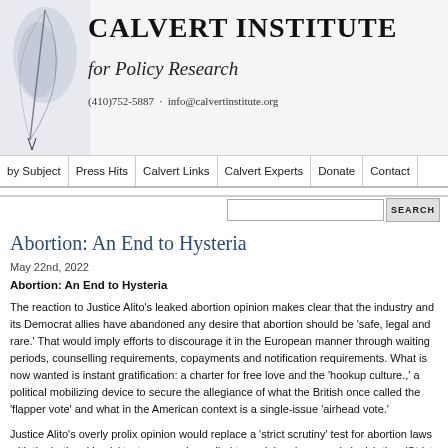CALVERT INSTITUTE for Policy Research
(410)752-5887 · info@calvertinstitute.org
by Subject | Press Hits | Calvert Links | Calvert Experts | Donate | Contact
Abortion: An End to Hysteria
May 22nd, 2022
Abortion: An End to Hysteria
The reaction to Justice Alito's leaked abortion opinion makes clear that the industry and its Democrat allies have abandoned any desire that abortion should be 'safe, legal and rare.' That would imply efforts to discourage it in the European manner through waiting periods, counselling requirements, copayments and notification requirements. What is now wanted is instant gratification: a charter for free love and the 'hookup culture.,' a political mobilizing device to secure the allegiance of what the British once called the 'flapper vote' and what in the American context is a single-issue 'airhead vote.'
Justice Alito's overly prolix opinion would replace a 'strict scrutiny' test for abortion laws with the 'rational basis' test commonly applied to social and economic legislation. 'Strict scrutiny' was once